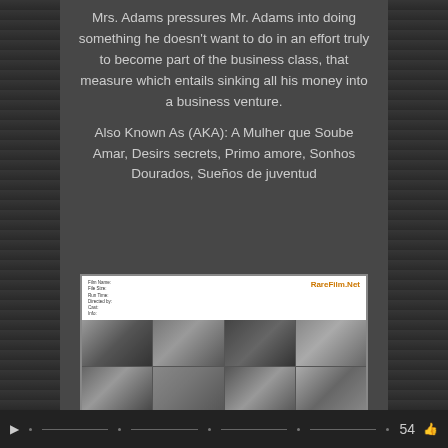Mrs. Adams pressures Mr. Adams into doing something he doesn't want to do in an effort truly to become part of the business class, that measure which entails sinking all his money into a business venture.
Also Known As (AKA): A Mulher que Soube Amar, Desirs secrets, Primo amore, Sonhos Dourados, Sueños de juventud
[Figure (screenshot): A screenshot from RareFilm.Net showing a grid of 12 black-and-white film stills from a movie, with a header showing film details and the RareFilm.Net logo.]
54